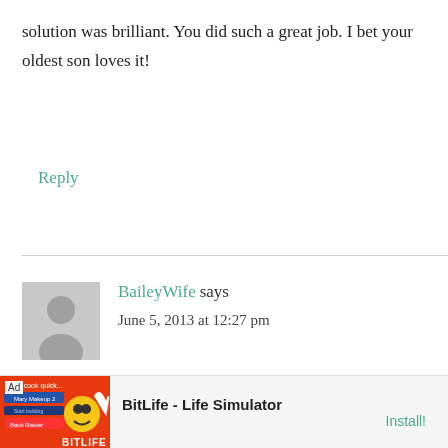solution was brilliant. You did such a great job. I bet your oldest son loves it!
Reply
BaileyWife says
June 5, 2013 at 12:27 pm
Emily!! This is now my favorite room in your house! I love the mix of colors and
[Figure (other): BitLife - Life Simulator advertisement banner with orange background, game icon, and Install button]